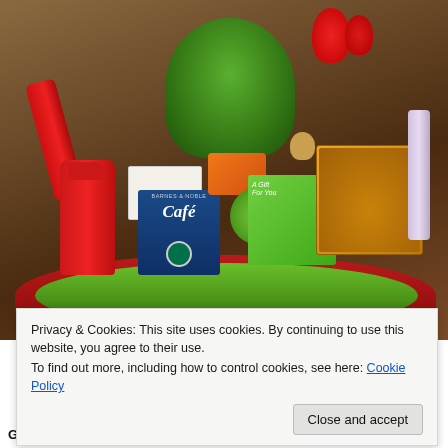[Figure (photo): A gardening gift basket filled with items including a red spray bottle, a Barnes & Noble Cafe gift card, seed packets (including marigold), a small globe, plant/flower-themed gift card, a green plant, red flowers, and other gardening-related items, arranged in a bright red and green tote/bowl.]
Privacy & Cookies: This site uses cookies. By continuing to use this website, you agree to their use.
To find out more, including how to control cookies, see here: Cookie Policy
Close and accept
GARDENING – bright tote or ceramic/clay oversized pot with